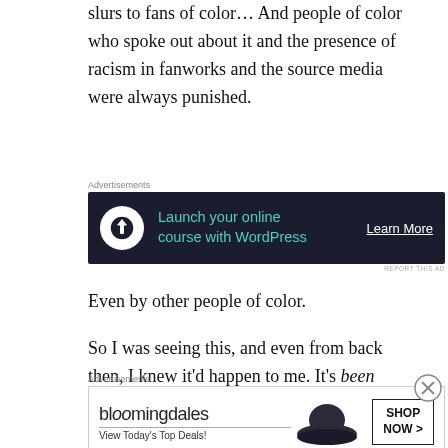slurs to fans of color… And people of color who spoke out about it and the presence of racism in fanworks and the source media were always punished.
[Figure (screenshot): Dark-background advertisement: 'Launch your online course with WordPress' with Learn More CTA button]
Even by other people of color.
So I was seeing this, and even from back then, I knew it'd happen to me. It's been happening to me. But I always felt, even as it escalated and my reputation got attacked by racist liars and their
[Figure (screenshot): Bloomingdale's advertisement: 'View Today's Top Deals!' with SHOP NOW button and woman in hat image]